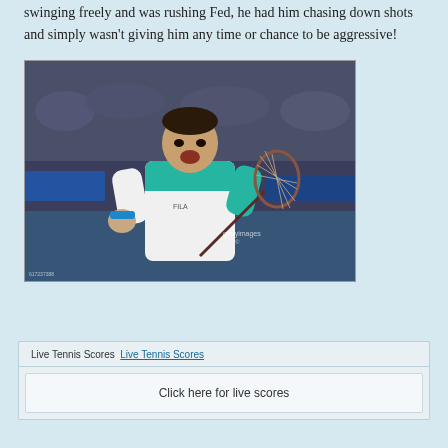swinging freely and was rushing Fed, he had him chasing down shots and simply wasn't giving him any time or chance to be aggressive!
[Figure (photo): Tennis player celebrating on court, pumping fist, wearing white and teal shirt, holding racket. Getty Images watermark visible.]
Live Tennis Scores Live Tennis Scores
Click here for live scores